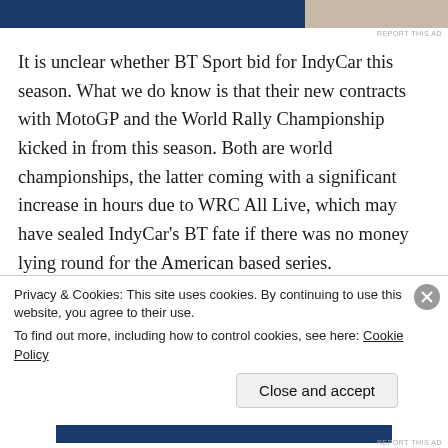[Figure (other): Top advertisement banner with blue bar and image area on the right]
It is unclear whether BT Sport bid for IndyCar this season. What we do know is that their new contracts with MotoGP and the World Rally Championship kicked in from this season. Both are world championships, the latter coming with a significant increase in hours due to WRC All Live, which may have sealed IndyCar's BT fate if there was no money lying round for the American based series.
The 17-round IndyCar Series season gets underway
Privacy & Cookies: This site uses cookies. By continuing to use this website, you agree to their use.
To find out more, including how to control cookies, see here: Cookie Policy
Close and accept
[Figure (other): Bottom advertisement banner with blue bar]